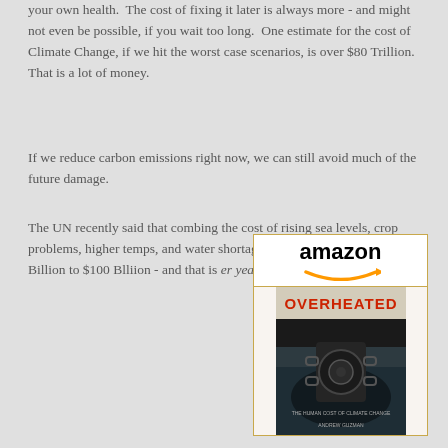your own health.  The cost of fixing it later is always more - and might not even be possible, if you wait too long.  One estimate for the cost of Climate Change, if we hit the worst case scenarios, is over $80 Trillion.  That is a lot of money.
If we reduce carbon emissions right now, we can still avoid much of the future damage.
The UN recently said that combing the cost of rising sea levels, crop problems, higher temps, and water shortages could soon cost us from $70 Billion to $100 Blliion - and that is er year.
[Figure (other): Amazon logo with arrow and book cover for 'Overheated: The Human Cost of Climate Change' by Andrew Guzman]